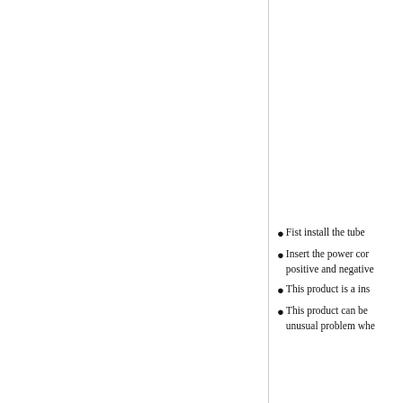Fist install the tube
Insert the power cor positive and negative
This product is a ins
This product can be unusual problem whe